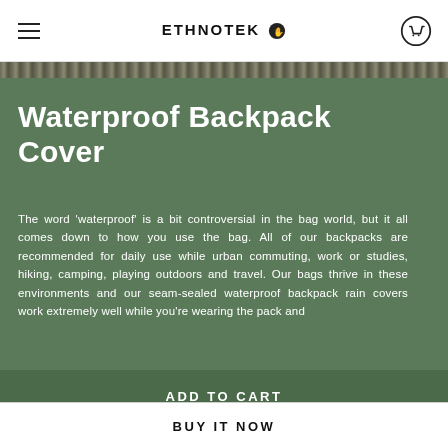ETHNOTEK
Waterproof Backpack Cover
The word 'waterproof' is a bit controversial in the bag world, but it all comes down to how you use the bag. All of our backpacks are recommended for daily use while urban commuting, work or studies, hiking, camping, playing outdoors and travel. Our bags thrive in these environments and our seam-sealed waterproof backpack rain covers work extremely well while you're wearing the pack and
ADD TO CART
BUY IT NOW